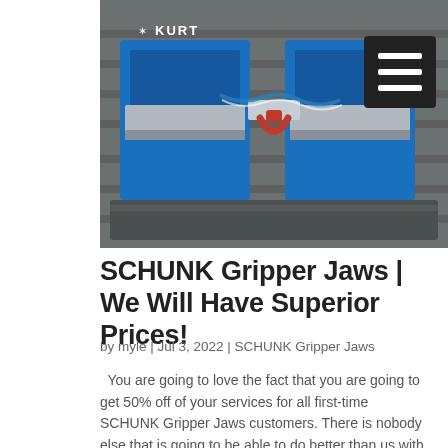[Figure (photo): Industrial blue KURT machining vise/gripper jaws mounted on a metal surface, showing blue clamps with a red and white strap mechanism]
SCHUNK Gripper Jaws | We Will Have Superior Prices!
by myle | Jul 3, 2022 | SCHUNK Gripper Jaws
You are going to love the fact that you are going to get 50% off of your services for all first-time SCHUNK Gripper Jaws customers. There is nobody else that is going to be able to do better than us with our 35 years of quality. If you are a first-time visitor,...